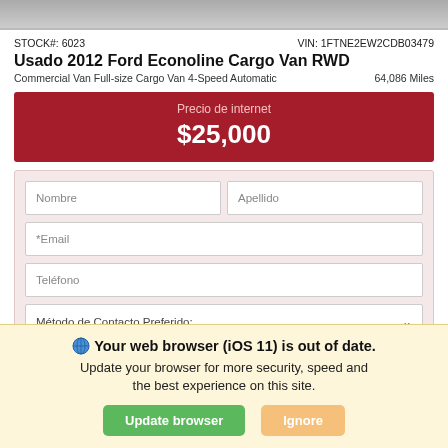[Figure (screenshot): Top portion of a vehicle/car listing page — gray image strip at top]
STOCK#: 6023    VIN: 1FTNE2EW2CDB03479
Usado 2012 Ford Econoline Cargo Van RWD
Commercial Van Full-size Cargo Van 4-Speed Automatic    64,086 Miles
Precio de internet
$25,000
[Figure (screenshot): Contact form with fields: Nombre, Apellido, *Email, Teléfono, Método de Contacto Preferido dropdown, and Obtén mejor precio button]
SHOW ME THE
Your web browser (iOS 11) is out of date.
Update your browser for more security, speed and the best experience on this site.
Update browser  Ignore